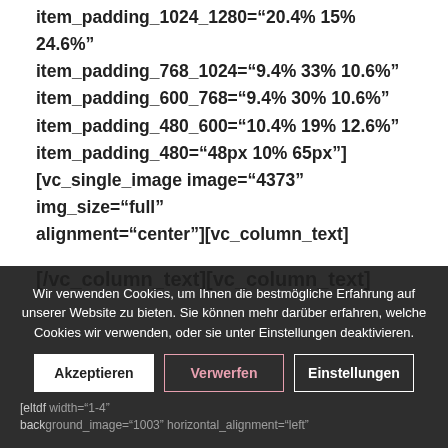item_padding_1024_1280="20.4% 15% 24.6%" item_padding_768_1024="9.4% 33% 10.6%" item_padding_600_768="9.4% 30% 10.6%" item_padding_480_600="10.4% 19% 12.6%" item_padding_480="48px 10% 65px"] [vc_single_image image="4373" img_size="full" alignment="center"][vc_column_text]
[/vc_column_text][vc_column_text]
Wir verwenden Cookies, um Ihnen die bestmögliche Erfahrung auf unserer Website zu bieten. Sie können mehr darüber erfahren, welche Cookies wir verwenden, oder sie unter Einstellungen deaktivieren.
Akzeptieren   Verwerfen   Einstellungen
[eltdf width="1-4" background_image="1003" horizontal_alignment="left"